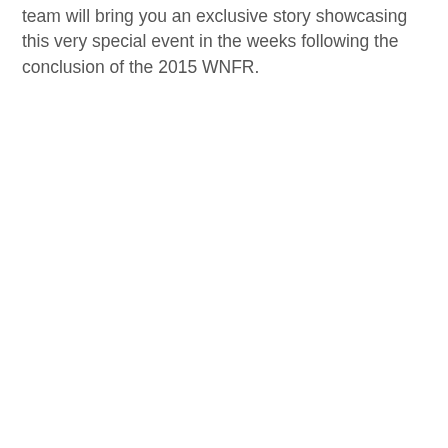team will bring you an exclusive story showcasing this very special event in the weeks following the conclusion of the 2015 WNFR.